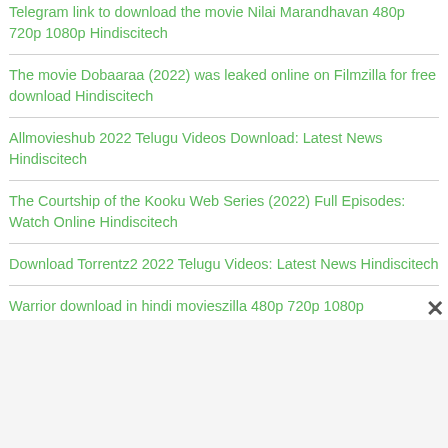Telegram link to download the movie Nilai Marandhavan 480p 720p 1080p Hindiscitech
The movie Dobaaraa (2022) was leaked online on Filmzilla for free download Hindiscitech
Allmovieshub 2022 Telugu Videos Download: Latest News Hindiscitech
The Courtship of the Kooku Web Series (2022) Full Episodes: Watch Online Hindiscitech
Download Torrentz2 2022 Telugu Videos: Latest News Hindiscitech
Warrior download in hindi movieszilla 480p 720p 1080p Hindiscitech
The Next 365 Days (Part 3) (2022) downloadable movie with